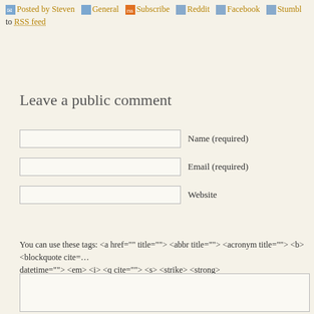Posted by Steven  General  Subscribe to RSS feed  Reddit  Facebook  Stumbl…
Leave a public comment
Name (required)
Email (required)
Website
You can use these tags: <a href="" title=""> <abbr title=""> <acronym title=""> <b> <blockquote cite=… datetime=""> <em> <i> <q cite=""> <s> <strike> <strong>